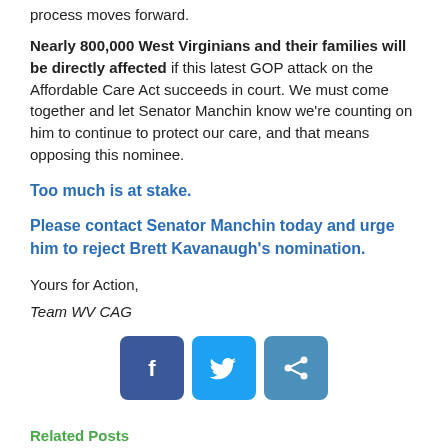process moves forward.
Nearly 800,000 West Virginians and their families will be directly affected if this latest GOP attack on the Affordable Care Act succeeds in court. We must come together and let Senator Manchin know we're counting on him to continue to protect our care, and that means opposing this nominee.
Too much is at stake.
Please contact Senator Manchin today and urge him to reject Brett Kavanaugh's nomination.
Yours for Action,
Team WV CAG
[Figure (infographic): Social sharing buttons: Facebook (blue), Twitter (light blue), Share (medium blue)]
Related Posts